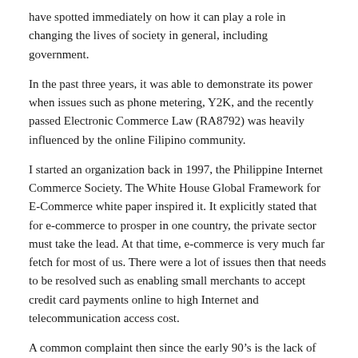have spotted immediately on how it can play a role in changing the lives of society in general, including government.
In the past three years, it was able to demonstrate its power when issues such as phone metering, Y2K, and the recently passed Electronic Commerce Law (RA8792) was heavily influenced by the online Filipino community.
I started an organization back in 1997, the Philippine Internet Commerce Society. The White House Global Framework for E-Commerce white paper inspired it. It explicitly stated that for e-commerce to prosper in one country, the private sector must take the lead. At that time, e-commerce is very much far fetch for most of us. There were a lot of issues then that needs to be resolved such as enabling small merchants to accept credit card payments online to high Internet and telecommunication access cost.
A common complaint then since the early 90's is the lack of Philippine legislation that legally recognizes electronic documents as evidence. What further inspired and challenged us to take an active role is when former DOST Secretary William Padolina said during a panel discussion last Internet Commerce Expo 1998. He was asked by one of the audience as to what the DOST and government is doing, especially legislation, to recognize the necessary laws that will allow the country to play in the arena of e-commerce. Firmly, he replied, “You can’t expect the DOST Secretary to do everything for you. If you can not go to Congress, talk to